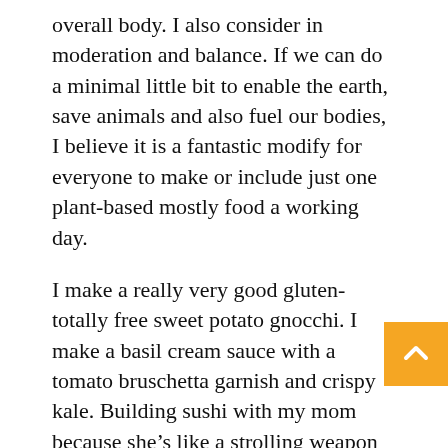overall body. I also consider in moderation and balance. If we can do a minimal little bit to enable the earth, save animals and also fuel our bodies, I believe it is a fantastic modify for everyone to make or include just one plant-based mostly food a working day.
I make a really very good gluten-totally free sweet potato gnocchi. I make a basil cream sauce with a tomato bruschetta garnish and crispy kale. Building sushi with my mom because she’s like a strolling weapon when it will come to sushi. We make a bunch of vegan sushi out of tomato tuna and there are some fried oyster mushroom rolls. We make our individual spicy mayo.
Brisa Hennessy Begins The Working Day Right